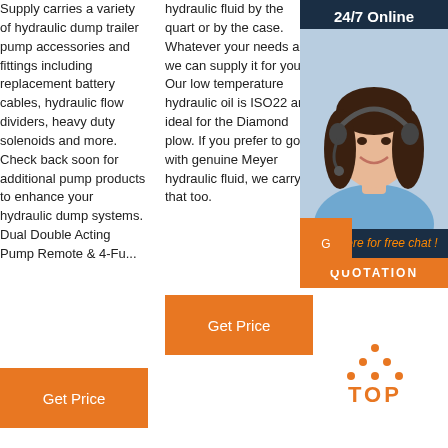Supply carries a variety of hydraulic dump trailer pump accessories and fittings including replacement battery cables, hydraulic flow dividers, heavy duty solenoids and more. Check back soon for additional pump products to enhance your hydraulic dump systems. Dual Double Acting Pump Remote & 4-Fu...
hydraulic fluid by the quart or by the case. Whatever your needs are we can supply it for you. Our low temperature hydraulic oil is ISO22 and ideal for the Diamond plow. If you prefer to go with genuine Meyer hydraulic fluid, we carry that too.
prices! We have a huge selection of high quality snow plow parts including cutting edges, valves, lights
[Figure (infographic): Advertisement overlay with dark blue background, woman with headset photo, '24/7 Online' header, 'Click here for free chat!' text, and orange QUOTATION button]
Get Price (button col1)
Get Price (button col2)
[Figure (infographic): Orange TOP button with dots above, indicating scroll to top]